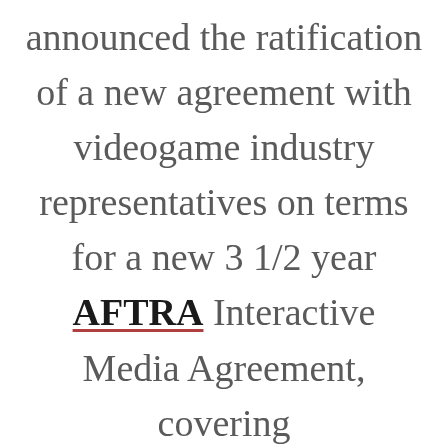announced the ratification of a new agreement with videogame industry representatives on terms for a new 3 1/2 year AFTRA Interactive Media Agreement, covering